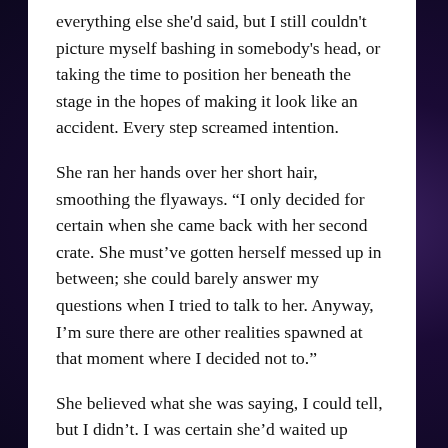everything else she'd said, but I still couldn't picture myself bashing in somebody's head, or taking the time to position her beneath the stage in the hopes of making it look like an accident. Every step screamed intention.
She ran her hands over her short hair, smoothing the flyaways. “I only decided for certain when she came back with her second crate. She must’ve gotten herself messed up in between; she could barely answer my questions when I tried to talk to her. Anyway, I’m sure there are other realities spawned at that moment where I decided not to.”
She believed what she was saying, I could tell, but I didn’t. I was certain she’d waited up there, taken the time to pick the perfect weapon from the show and tell table. She might even have picked in advance,